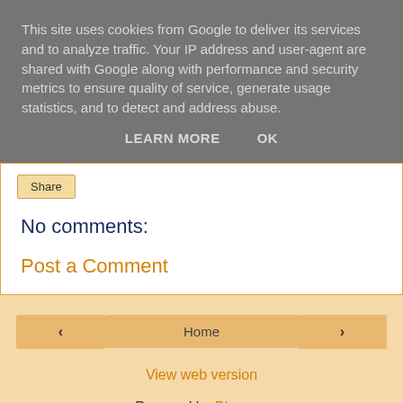This site uses cookies from Google to deliver its services and to analyze traffic. Your IP address and user-agent are shared with Google along with performance and security metrics to ensure quality of service, generate usage statistics, and to detect and address abuse.
LEARN MORE   OK
Share
No comments:
Post a Comment
‹
Home
›
View web version
Powered by Blogger.